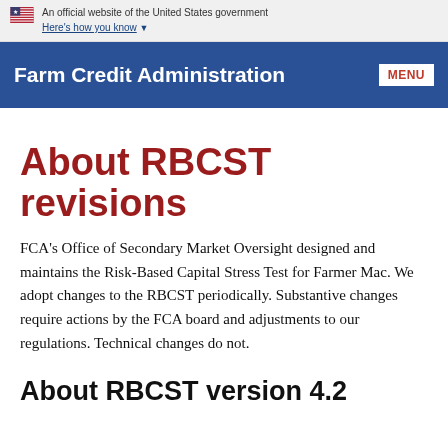An official website of the United States government
Here's how you know ▼
Farm Credit Administration | MENU
About RBCST revisions
FCA's Office of Secondary Market Oversight designed and maintains the Risk-Based Capital Stress Test for Farmer Mac. We adopt changes to the RBCST periodically. Substantive changes require actions by the FCA board and adjustments to our regulations. Technical changes do not.
About RBCST version 4.2